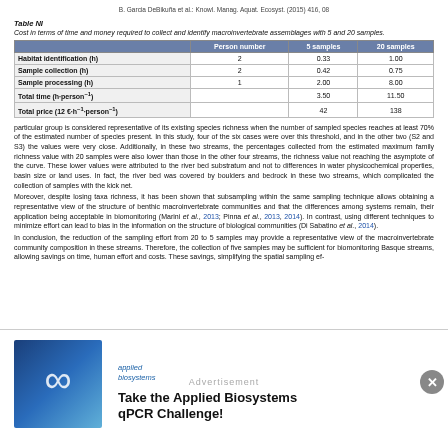B. Garcia DeBikuña et al.: Knowl. Manag. Aquat. Ecosyst. (2015) 416, 08
Table NI
Cost in terms of time and money required to collect and identify macroinvertebrate assemblages with 5 and 20 samples.
|  | Person number | 5 samples | 20 samples |
| --- | --- | --- | --- |
| Habitat identification (h) | 2 | 0.33 | 1.00 |
| Sample collection (h) | 2 | 0.42 | 0.75 |
| Sample processing (h) | 1 | 2.00 | 8.00 |
| Total time (h·person⁻¹) |  | 3.50 | 11.50 |
| Total price (12 €·h⁻¹·person⁻¹) |  | 42 | 138 |
particular group is considered representative of its existing species richness when the number of sampled species reaches at least 70% of the estimated number of species present. In this study, four of the six cases were over this threshold, and in the other two (S2 and S3) the values were very close. Additionally, in these two streams, the percentages collected from the estimated maximum family richness value with 20 samples were also lower than those in the other four streams, the richness value not reaching the asymptote of the curve. These lower values were attributed to the river bed substratum and not to differences in water physicochemical properties, basin size or land uses. In fact, the river bed was covered by boulders and bedrock in these two streams, which complicated the collection of samples with the kick net.
Moreover, despite losing taxa richness, it has been shown that subsampling within the same sampling technique allows obtaining a representative view of the structure of benthic macroinvertebrate communities and that the differences among systems remain, their application being acceptable in biomonitoring (Marini et al., 2013; Pinna et al., 2013, 2014). In contrast, using different techniques to minimize effort can lead to bias in the information on the structure of biological communities (Di Sabatino et al., 2014).
In conclusion, the reduction of the sampling effort from 20 to 5 samples may provide a representative view of the macroinvertebrate community composition in these streams. Therefore, the collection of five samples may be sufficient for biomonitoring Basque streams, allowing savings on time, human effort and costs. These savings, simplifying the spatial sampling ef-
[Figure (photo): Applied Biosystems advertisement with infinity logo on blue background and text 'Take the Applied Biosystems qPCR Challenge!']